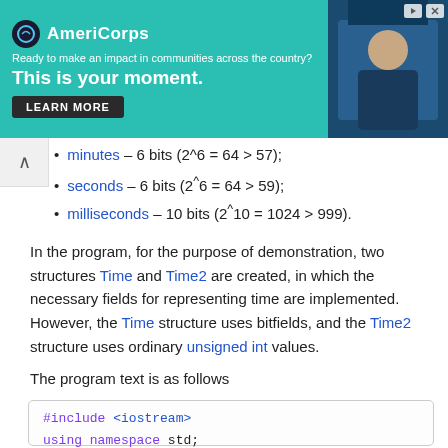[Figure (other): AmeriCorps advertisement banner with teal background, logo, tagline 'Ready to make an impact in communities across the country?', headline 'This is your moment.', LEARN MORE button, and a photo of a person]
minutes – 6 bits (2^6 = 64 > 57); [partially visible at top]
seconds – 6 bits (2^6 = 64 > 59);
milliseconds – 10 bits (2^10 = 1024 > 999).
In the program, for the purpose of demonstration, two structures Time and Time2 are created, in which the necessary fields for representing time are implemented. However, the Time structure uses bitfields, and the Time2 structure uses ordinary unsigned int values.
The program text is as follows
#include <iostream>
using namespace std;